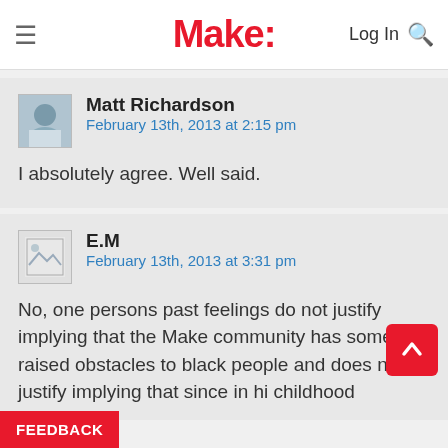Make:
Matt Richardson
February 13th, 2013 at 2:15 pm

I absolutely agree. Well said.
E.M
February 13th, 2013 at 3:31 pm

No, one persons past feelings do not justify implying that the Make community has somehow raised obstacles to black people and does not justify implying that since in hi childhood